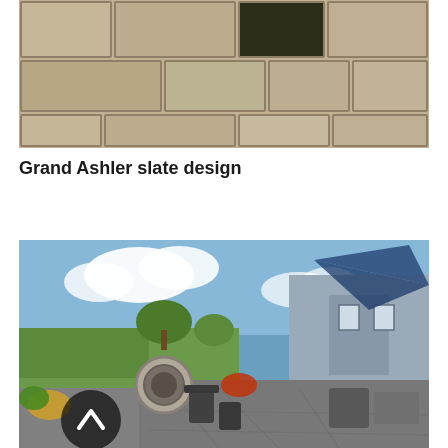[Figure (photo): Close-up aerial view of Grand Ashler slate design stamped concrete patio surface showing rectangular stone pattern in beige/tan tones]
Grand Ashler slate design
[Figure (photo): Outdoor patio scene with stamped concrete patio, circular stone fire pit, Adirondack chairs, lush green lawn, trees, blue sky with white clouds, house with blue shade sail canopy, and patio furniture in background]